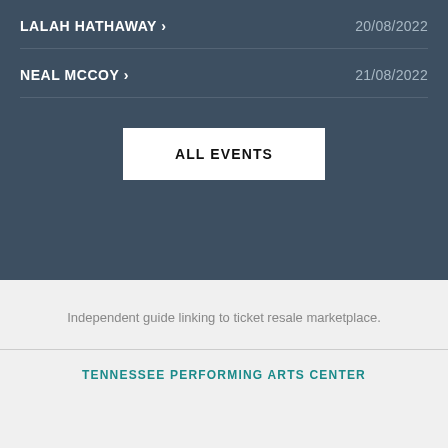LALAH HATHAWAY › 20/08/2022
NEAL MCCOY › 21/08/2022
ALL EVENTS
Independent guide linking to ticket resale marketplace.
TENNESSEE PERFORMING ARTS CENTER